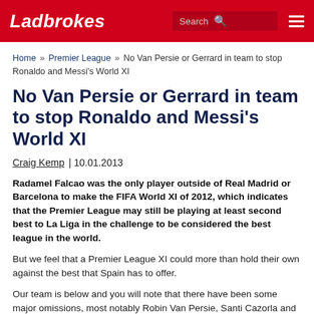Ladbrokes
Home » Premier League » No Van Persie or Gerrard in team to stop Ronaldo and Messi's World XI
No Van Persie or Gerrard in team to stop Ronaldo and Messi's World XI
Craig Kemp | 10.01.2013
Radamel Falcao was the only player outside of Real Madrid or Barcelona to make the FIFA World XI of 2012, which indicates that the Premier League may still be playing at least second best to La Liga in the challenge to be considered the best league in the world.
But we feel that a Premier League XI could more than hold their own against the best that Spain has to offer.
Our team is below and you will note that there have been some major omissions, most notably Robin Van Persie, Santi Cazorla and David Silva.
[Figure (photo): Banner image with text PREMIER LEAGUE XI on grey background]